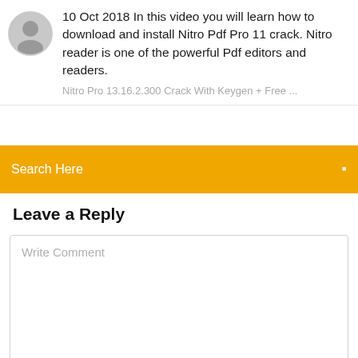10 Oct 2018 In this video you will learn how to download and install Nitro Pdf Pro 11 crack. Nitro reader is one of the powerful Pdf editors and readers.
Nitro Pro 13.16.2.300 Crack With Keygen + Free ...
Search Here
Leave a Reply
Write Comment